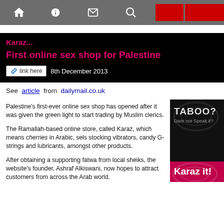Navigation bar with home, info, mail, search, menu, and up icons
Karaz...
First online sex shop for Palestine
link here  8th December 2013
See article from dailymail.co.uk
Palestine's first-ever online sex shop has opened after it was given the green light to start trading by Muslim clerics.
The Ramallah-based online store, called Karaz, which means cherries in Arabic, sels stocking vibrators, candy G-strings and lubricants, amongst other products.
After obtaining a supporting fatwa from local sheiks, the website's founder, Ashraf Alkiswani, now hopes to attract customers from across the Arab world.
[Figure (advertisement): TABOO? Dare not Speak it? Karaz it! advertisement on black and pink background]